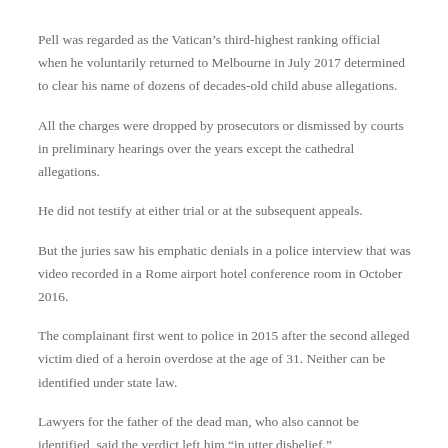Pell was regarded as the Vatican’s third-highest ranking official when he voluntarily returned to Melbourne in July 2017 determined to clear his name of dozens of decades-old child abuse allegations.
All the charges were dropped by prosecutors or dismissed by courts in preliminary hearings over the years except the cathedral allegations.
He did not testify at either trial or at the subsequent appeals.
But the juries saw his emphatic denials in a police interview that was video recorded in a Rome airport hotel conference room in October 2016.
The complainant first went to police in 2015 after the second alleged victim died of a heroin overdose at the age of 31. Neither can be identified under state law.
Lawyers for the father of the dead man, who also cannot be identified, said the verdict left him “in utter disbelief.”